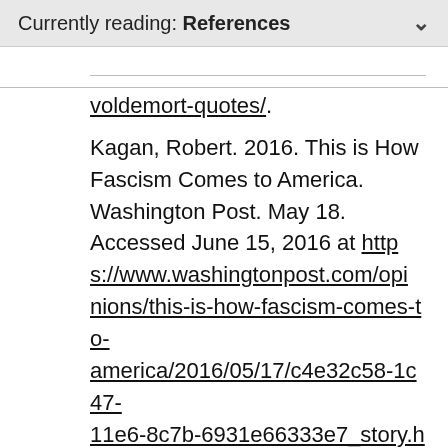Currently reading: References
voldemort-quotes/.
Kagan, Robert. 2016. This is How Fascism Comes to America. Washington Post. May 18. Accessed June 15, 2016 at https://www.washingtonpost.com/opinions/this-is-how-fascism-comes-to-america/2016/05/17/c4e32c58-1c47-11e6-8c7b-6931e66333e7_story.html.
Kessler, Glenn. 2015. Trump’s Outrageous Claim that ‘Thousands’ of New Jersey Muslims Celebrated the 9/11 Attacks. Washington Post. November 22.